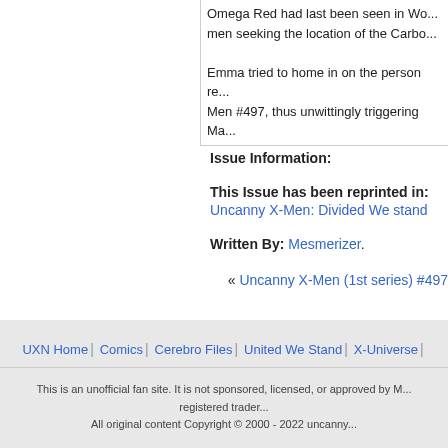Omega Red had last been seen in Wo... men seeking the location of the Carbo...
Emma tried to home in on the person re... Men #497, thus unwittingly triggering Ma...
Issue Information:
This Issue has been reprinted in:
Uncanny X-Men: Divided We stand
Written By: Mesmerizer.
« Uncanny X-Men (1st series) #497
UXN Home | Comics | Cerebro Files | United We Stand | X-Universe
This is an unofficial fan site. It is not sponsored, licensed, or approved by M... registered trader... All original content Copyright © 2000 - 2022 uncanny...